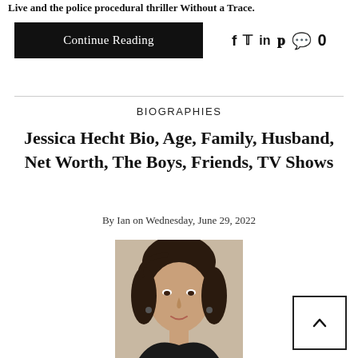Live and the police procedural thriller Without a Trace.
Continue Reading
f  𝕏  in  𝕡  💬 0
BIOGRAPHIES
Jessica Hecht Bio, Age, Family, Husband, Net Worth, The Boys, Friends, TV Shows
By Ian on Wednesday, June 29, 2022
[Figure (photo): Portrait photo of Jessica Hecht, a woman with dark hair pulled back, wearing a dark top, smiling slightly.]